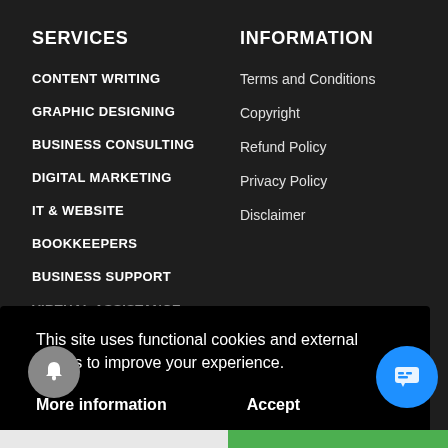SERVICES
INFORMATION
CONTENT WRITING
Terms and Conditions
GRAPHIC DESIGNING
Copyright
BUSINESS CONSULTING
Refund Policy
DIGITAL MARKETING
Privacy Policy
IT & WEBSITE
Disclaimer
BOOKKEEPERS
BUSINESS SUPPORT
This site uses functional cookies and external scripts to improve your experience.
More information
Accept